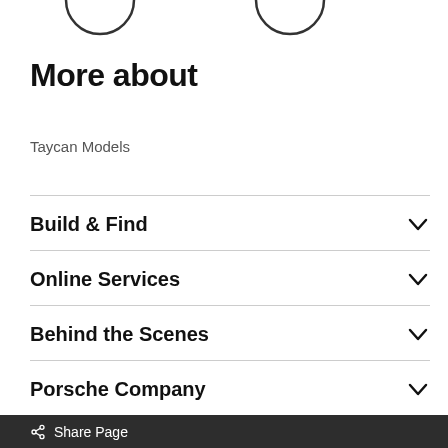[Figure (illustration): Partial view of two circular icons at the top of the page]
More about
Taycan Models
Build & Find
Online Services
Behind the Scenes
Porsche Company
Share Page